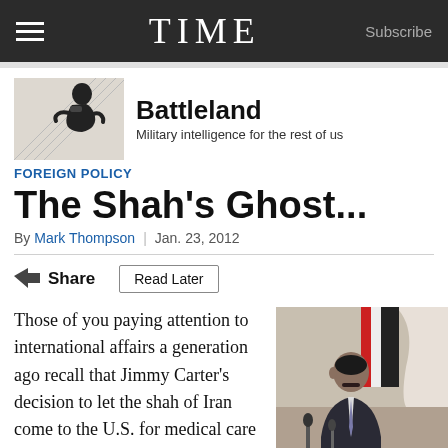TIME  Subscribe
[Figure (illustration): Battleland blog masthead with soldier silhouette illustration in black and white]
Battleland — Military intelligence for the rest of us
FOREIGN POLICY
The Shah's Ghost...
By Mark Thompson | Jan. 23, 2012
Share   Read Later
Those of you paying attention to international affairs a generation ago recall that Jimmy Carter's decision to let the shah of Iran come to the U.S. for medical care created
[Figure (photo): Photo of a man in a dark suit seated at a press conference with microphones and flags in background]